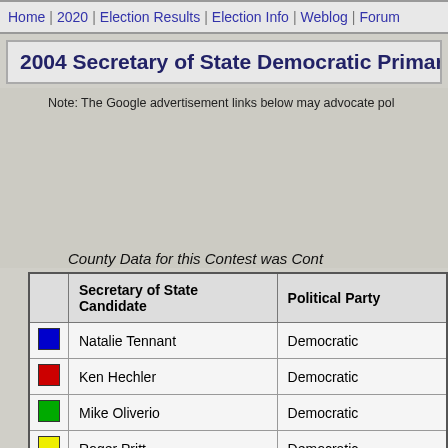Home | 2020 | Election Results | Election Info | Weblog | Forum
2004 Secretary of State Democratic Primary Ele…
Note: The Google advertisement links below may advocate pol…
County Data for this Contest was Cont…
|  | Secretary of State Candidate | Political Party |
| --- | --- | --- |
| blue | Natalie Tennant | Democratic |
| red | Ken Hechler | Democratic |
| green | Mike Oliverio | Democratic |
| yellow | Roger Pritt | Democratic |
| yellow | George Daugherty | Democratic |